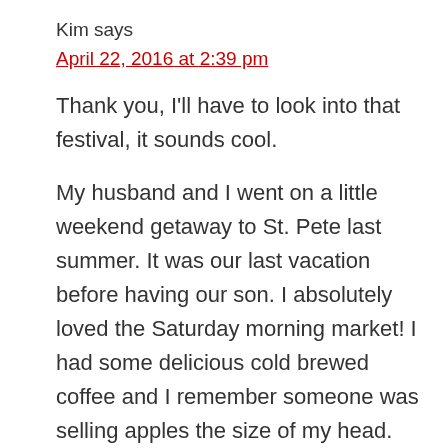Kim says
April 22, 2016 at 2:39 pm
Thank you, I'll have to look into that festival, it sounds cool.
My husband and I went on a little weekend getaway to St. Pete last summer. It was our last vacation before having our son. I absolutely loved the Saturday morning market! I had some delicious cold brewed coffee and I remember someone was selling apples the size of my head. We'll have to get back there one